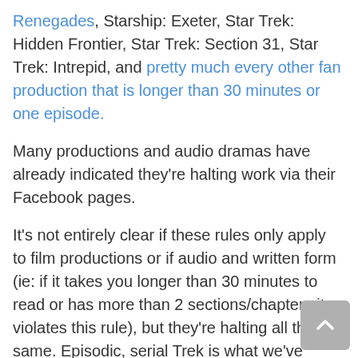Renegades, Starship: Exeter, Star Trek: Hidden Frontier, Star Trek: Section 31, Star Trek: Intrepid, and pretty much every other fan production that is longer than 30 minutes or one episode.
Many productions and audio dramas have already indicated they're halting work via their Facebook pages.
It's not entirely clear if these rules only apply to film productions or if audio and written form (ie: if it takes you longer than 30 minutes to read or has more than 2 sections/chapters it violates this rule), but they're halting all the same. Episodic, serial Trek is what we've seen, time and time again and what most productions have modeled themselves after – because fans expect it.